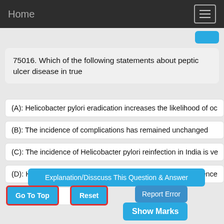Home
75016. Which of the following statements about peptic ulcer disease in true
(A): Helicobacter pylori eradication increases the likelihood of oc
(B): The incidence of complications has remained unchanged
(C): The incidence of Helicobacter pylori reinfection in India is ve
(D): Helicobacter pylori eradication does not alter the recurrence
(E): NULL
Explanation/Disscuss This Question & Answer
Go To Top
Reset
Report Error
Show Marks